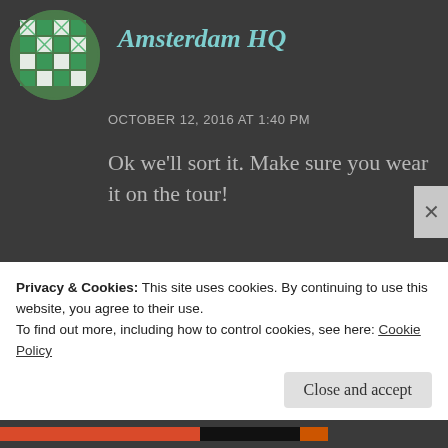[Figure (illustration): Green and white geometric quilt-pattern avatar for Amsterdam HQ]
Amsterdam HQ
OCTOBER 12, 2016 AT 1:40 PM
Ok we'll sort it. Make sure you wear it on the tour!
REPLY
[Figure (illustration): Purple and white geometric avatar for Perkins, Andy (LDN-FCB)]
Perkins, Andy (LDN-FCB)
Privacy & Cookies: This site uses cookies. By continuing to use this website, you agree to their use.
To find out more, including how to control cookies, see here: Cookie Policy
Close and accept